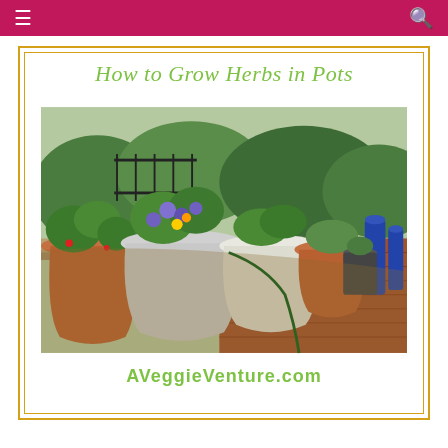☰  [search icon]
How to Grow Herbs in Pots
[Figure (photo): Several decorative pots and planters filled with herbs and flowering plants including purple pansies and green herbs, arranged along a brick-paved garden path with a black iron fence and lush greenery in the background.]
AVeggieVenture.com